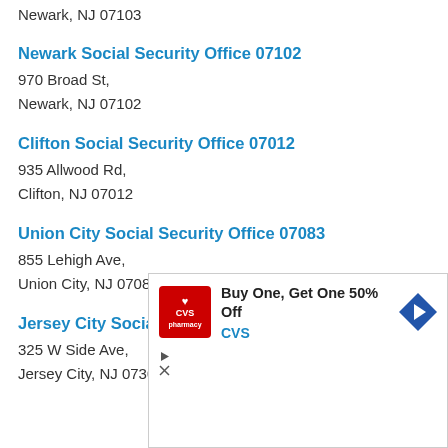Newark, NJ 07103
Newark Social Security Office 07102
970 Broad St,
Newark, NJ 07102
Clifton Social Security Office 07012
935 Allwood Rd,
Clifton, NJ 07012
Union City Social Security Office 07083
855 Lehigh Ave,
Union City, NJ 07083
Jersey City Social Security Office 07305
325 W Side Ave,
Jersey City, NJ 07305
[Figure (other): CVS Pharmacy advertisement: Buy One, Get One 50% Off]